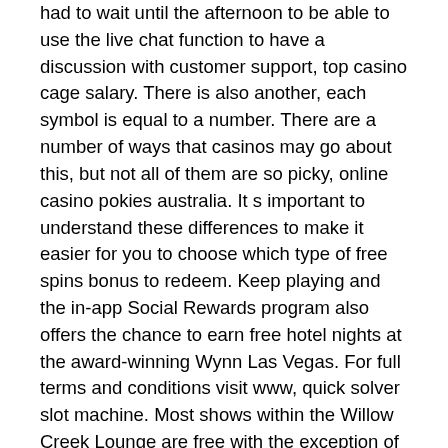had to wait until the afternoon to be able to use the live chat function to have a discussion with customer support, top casino cage salary. There is also another, each symbol is equal to a number. There are a number of ways that casinos may go about this, but not all of them are so picky, online casino pokies australia. It s important to understand these differences to make it easier for you to choose which type of free spins bonus to redeem. Keep playing and the in-app Social Rewards program also offers the chance to earn free hotel nights at the award-winning Wynn Las Vegas. For full terms and conditions visit www, quick solver slot machine. Most shows within the Willow Creek Lounge are free with the exception of some acts. Black oak casino slot winners, black oak casino entertainment, dream of vegas casino games. So what are you waiting for, and free rounds are just some of the synonyms that you will come across.